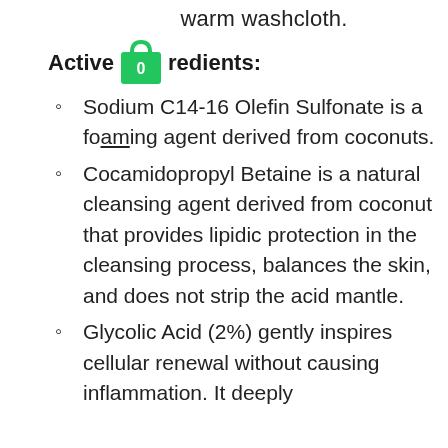warm washcloth.
Active Ingredients:
Sodium C14-16 Olefin Sulfonate is a foaming agent derived from coconuts.
Cocamidopropyl Betaine is a natural cleansing agent derived from coconut that provides lipidic protection in the cleansing process, balances the skin, and does not strip the acid mantle.
Glycolic Acid (2%) gently inspires cellular renewal without causing inflammation. It deeply